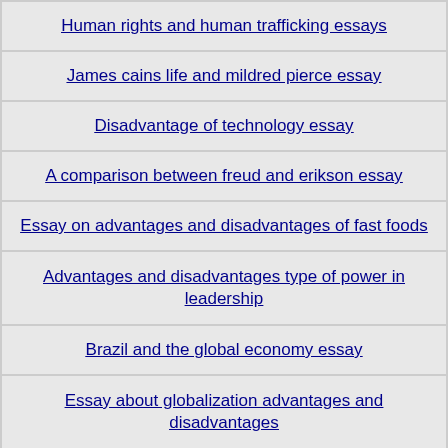Human rights and human trafficking essays
James cains life and mildred pierce essay
Disadvantage of technology essay
A comparison between freud and erikson essay
Essay on advantages and disadvantages of fast foods
Advantages and disadvantages type of power in leadership
Brazil and the global economy essay
Essay about globalization advantages and disadvantages
Essay on youth and moral values